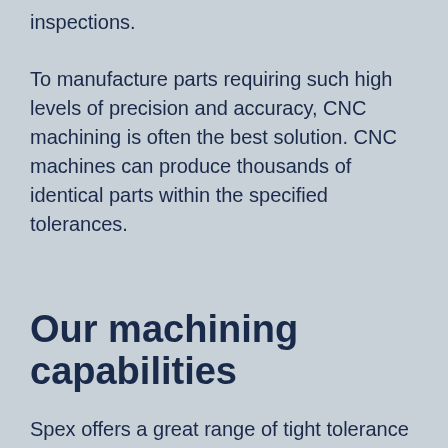inspections.
To manufacture parts requiring such high levels of precision and accuracy, CNC machining is often the best solution. CNC machines can produce thousands of identical parts within the specified tolerances.
Our machining capabilities
Spex offers a great range of tight tolerance parts and diverse material and design abilities. We have worked with customers in a variety of industries and we with a variety of